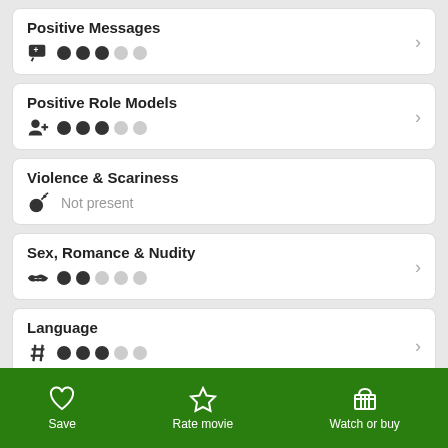Positive Messages — 3 out of 5 dots filled
Positive Role Models — 3 out of 5 dots filled
Violence & Scariness — Not present
Sex, Romance & Nudity — 2 out of 5 dots filled
Language — dots partially filled
Save | Rate movie | Watch or buy